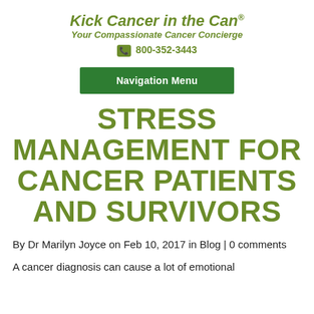Kick Cancer in the Can® Your Compassionate Cancer Concierge 800-352-3443
Navigation Menu
STRESS MANAGEMENT FOR CANCER PATIENTS AND SURVIVORS
By Dr Marilyn Joyce on Feb 10, 2017 in Blog | 0 comments
A cancer diagnosis can cause a lot of emotional